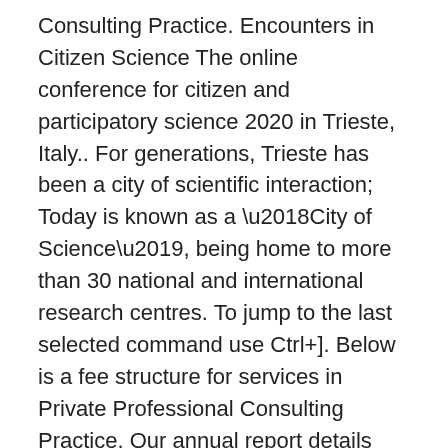Consulting Practice. Encounters in Citizen Science The online conference for citizen and participatory science 2020 in Trieste, Italy.. For generations, Trieste has been a city of scientific interaction; Today is known as a ‘City of Science’, being home to more than 30 national and international research centres. To jump to the last selected command use Ctrl+]. Below is a fee structure for services in Private Professional Consulting Practice. Our annual report details what we've been up to, and the wins we've made for students this year. These rules will come into effect on 1 January, 2014. Location . Guide on Hourly Fee Rates for Consultants For enquiries contact : The purpose of this Guide is to provide for standardised hourly fee rates of consultants appointed in the Public Service. period of at least 48 hours for a response. The commencement date of these Rules is 1 April 2006. It has been another incredible